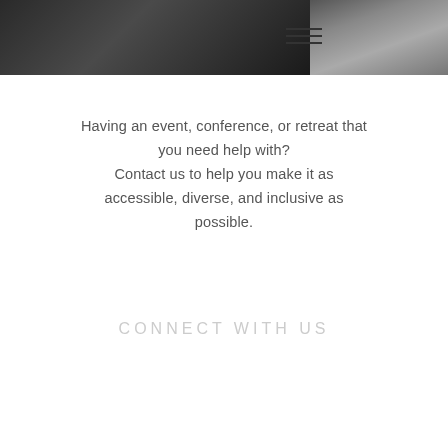[Figure (photo): Header banner with dark background photo showing people; hamburger menu icon visible in upper right portion]
Having an event, conference, or retreat that you need help with?
Contact us to help you make it as accessible, diverse, and inclusive as possible.
CONNECT WITH US